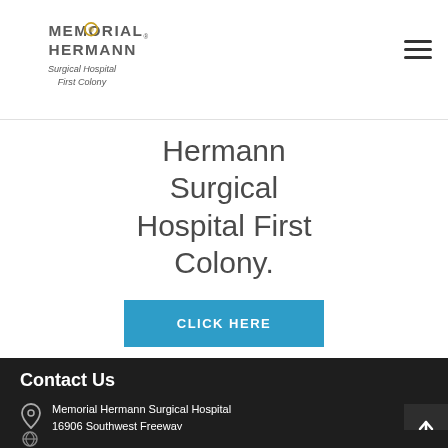Memorial Hermann Surgical Hospital First Colony
Hermann Surgical Hospital First Colony.
CLICK HERE
Contact Us
Memorial Hermann Surgical Hospital
16906 Southwest Freeway
Sugar Land, TX 77479